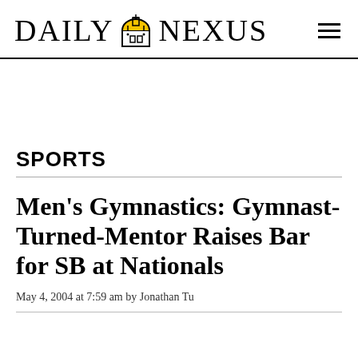DAILY NEXUS
SPORTS
Men's Gymnastics: Gymnast-Turned-Mentor Raises Bar for SB at Nationals
May 4, 2004 at 7:59 am by Jonathan Tu